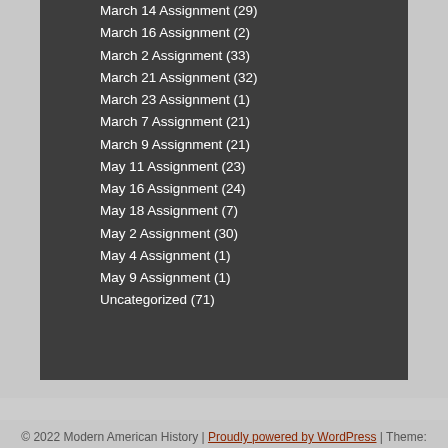March 14 Assignment (29)
March 16 Assignment (2)
March 2 Assignment (33)
March 21 Assignment (32)
March 23 Assignment (1)
March 7 Assignment (21)
March 9 Assignment (21)
May 11 Assignment (23)
May 16 Assignment (24)
May 18 Assignment (7)
May 2 Assignment (30)
May 4 Assignment (1)
May 9 Assignment (1)
Uncategorized (71)
© 2022 Modern American History | Proudly powered by WordPress | Theme: